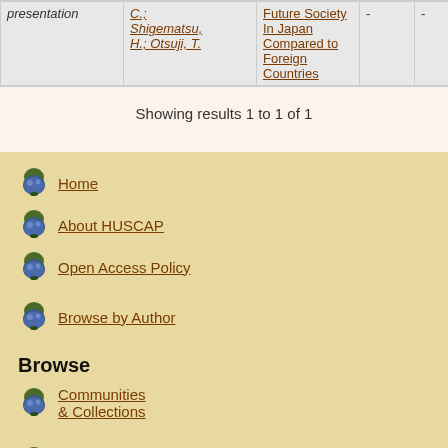| Type | Authors | Title |  |  |  | Date |
| --- | --- | --- | --- | --- | --- | --- |
| presentation | C.; Shigematsu, H.; Otsuji, T. | Future Society In Japan Compared to Foreign Countries | - | - | - | 2-No |
Showing results 1 to 1 of 1
Home
About HUSCAP
Open Access Policy
Browse by Author
Browse
Communities & Collections
Scholarly Journals
Theses